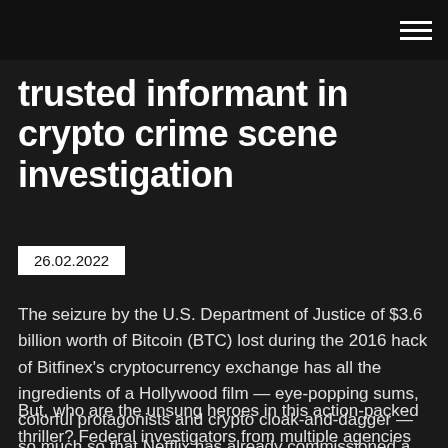trusted informant in crypto crime scene investigation
26.02.2022
The seizure by the U.S. Department of Justice of $3.6 billion worth of Bitcoin (BTC) lost during the 2016 hack of Bitfinex's cryptocurrency exchange has all the ingredients of a Hollywood film — eye-popping sums, colorful protagonists and crypto cloak-and-dagger — so much so that Netflix has already commissioned a docuseries.
But, who are the unsung heroes in this action-packed thriller? Federal investigators from multiple agencies including the new National Cryptocurrency Enforcement Team have painstakingly